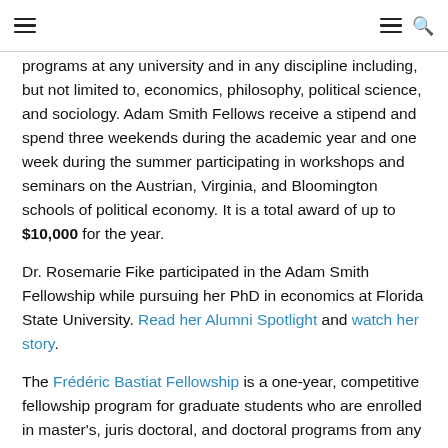[navigation bar with hamburger menu and search icon]
programs at any university and in any discipline including, but not limited to, economics, philosophy, political science, and sociology. Adam Smith Fellows receive a stipend and spend three weekends during the academic year and one week during the summer participating in workshops and seminars on the Austrian, Virginia, and Bloomington schools of political economy. It is a total award of up to $10,000 for the year.
Dr. Rosemarie Fike participated in the Adam Smith Fellowship while pursuing her PhD in economics at Florida State University. Read her Alumni Spotlight and watch her story.
The Frédéric Bastiat Fellowship is a one-year, competitive fellowship program for graduate students who are enrolled in master's, juris doctoral, and doctoral programs from any university and in any discipline including, but not limited to,